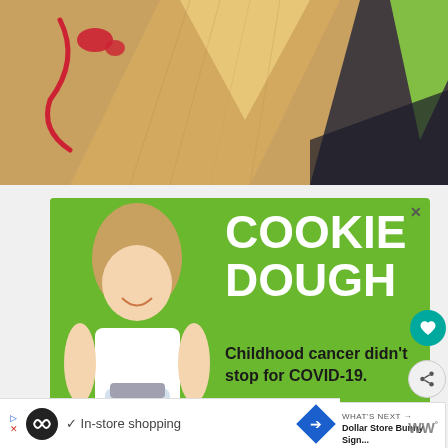[Figure (photo): Abstract geometric photo showing overlapping triangular shapes of wood grain textures in gold/brown tones with red, green, and black accents]
[Figure (infographic): Green advertisement banner for Cookie Dough childhood cancer fundraiser. Shows a smiling girl holding a jar of money. Text reads COOKIE DOUGH, Childhood cancer didn't stop for COVID-19., LETS GET BAKING, cookies. Close button X in top right.]
Childhood cancer didn't stop for COVID-19.
LETS GET BAKING
cookies
WHAT'S NEXT → Dollar Store Bunny Sign...
✓ In-store shopping